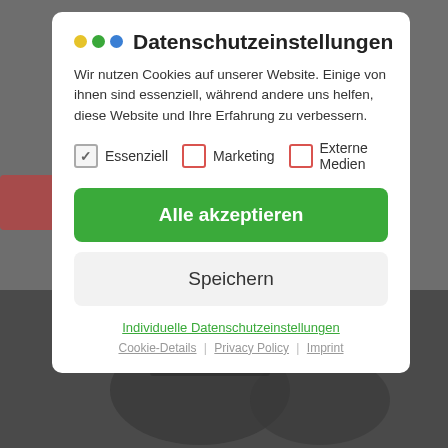[Figure (screenshot): Grayscale background showing a dark bicycle/hands scene, partially visible behind a cookie consent modal dialog.]
Datenschutzeinstellungen
Wir nutzen Cookies auf unserer Website. Einige von ihnen sind essenziell, während andere uns helfen, diese Website und Ihre Erfahrung zu verbessern.
Essenziell   Marketing   Externe Medien
Alle akzeptieren
Speichern
Individuelle Datenschutzeinstellungen
Cookie-Details | Privacy Policy | Imprint